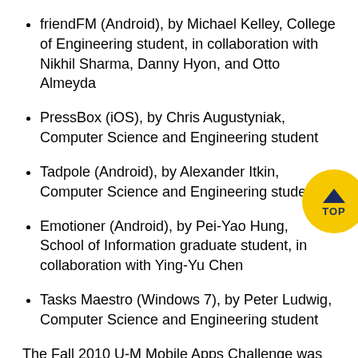friendFM (Android), by Michael Kelley, College of Engineering student, in collaboration with Nikhil Sharma, Danny Hyon, and Otto Almeyda
PressBox (iOS), by Chris Augustyniak, Computer Science and Engineering student
Tadpole (Android), by Alexander Itkin, Computer Science and Engineering student
Emotioner (Android), by Pei-Yao Hung, School of Information graduate student, in collaboration with Ying-Yu Chen
Tasks Maestro (Windows 7), by Peter Ludwig, Computer Science and Engineering student
The Fall 2010 U-M Mobile Apps Challenge was sponsored by Apple Inc., Google, U-M Information